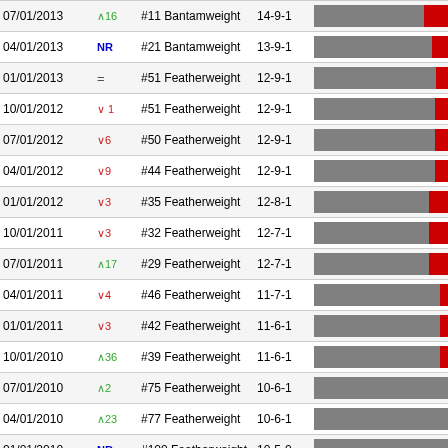| Date | Change | Rank/Division | Record | Rating Bar |
| --- | --- | --- | --- | --- |
| 07/01/2013 | ↑16 | #11 Bantamweight | 14-9-1 | 129 |
| 04/01/2013 | NR | #21 Bantamweight | 13-9-1 | 96 |
| 01/01/2013 | = | #51 Featherweight | 12-9-1 | 82 |
| 10/01/2012 | ↓1 | #51 Featherweight | 12-9-1 | 83 |
| 07/01/2012 | ↓6 | #50 Featherweight | 12-9-1 | 83 |
| 04/01/2012 | ↓9 | #44 Featherweight | 12-9-1 | 83 |
| 01/01/2012 | ↓3 | #35 Featherweight | 12-8-1 | 97 |
| 10/01/2011 | ↓3 | #32 Featherweight | 12-7-1 | 97 |
| 07/01/2011 | ↑17 | #29 Featherweight | 12-7-1 | 97 |
| 04/01/2011 | ↓4 | #46 Featherweight | 11-7-1 | 67 |
| 01/01/2011 | ↓3 | #42 Featherweight | 11-6-1 | 68 |
| 10/01/2010 | ↑36 | #39 Featherweight | 11-6-1 | 68 |
| 07/01/2010 | ↑2 | #75 Featherweight | 10-6-1 | 46 |
| 04/01/2010 | ↑23 | #77 Featherweight | 10-6-1 | 46 |
| 01/01/2010 | NR | #100 Featherweight | 10-5-0 | 37 |